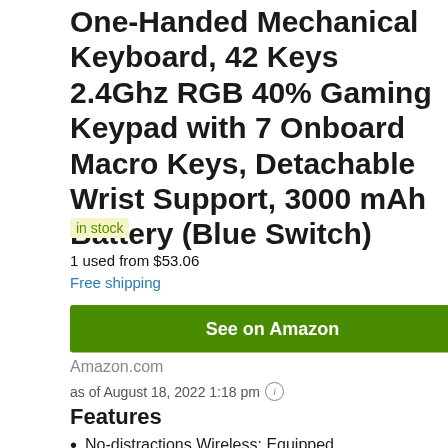One-Handed Mechanical Keyboard, 42 Keys 2.4Ghz RGB 40% Gaming Keypad with 7 Onboard Macro Keys, Detachable Wrist Support, 3000 mAh Battery (Blue Switch)
in stock
1 used from $53.06
Free shipping
[Figure (other): Green 'See on Amazon' button]
Amazon.com
as of August 18, 2022 1:18 pm ℹ
Features
No-distractions Wireless: Equipped